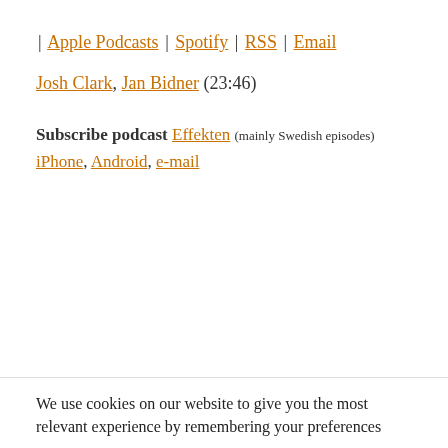| Apple Podcasts | Spotify | RSS | Email
Josh Clark, Jan Bidner (23:46)
Subscribe podcast Effekten (mainly Swedish episodes) iPhone, Android, e-mail
We use cookies on our website to give you the most relevant experience by remembering your preferences